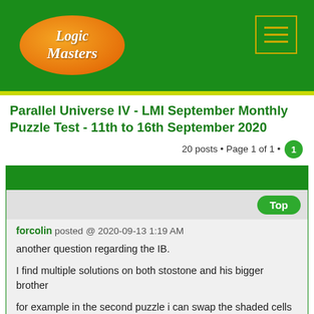Logic Masters — site header with logo and hamburger menu
Parallel Universe IV - LMI September Monthly Puzzle Test - 11th to 16th September 2020
20 posts • Page 1 of 1 • 1
forcolin posted @ 2020-09-13 1:19 AM
another question regarding the IB.

I find multiple solutions on both stostone and his bigger brother

for example in the second puzzle i can swap the shaded cells in (r2c1 and r3c2) moving them to (r2c2 and r3c1)

Is there anything I miss on the rules?